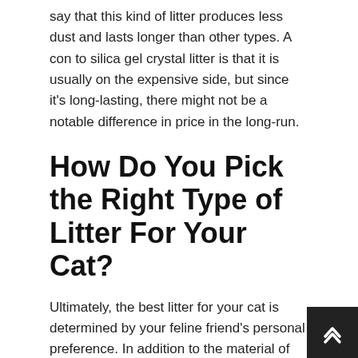say that this kind of litter produces less dust and lasts longer than other types. A con to silica gel crystal litter is that it is usually on the expensive side, but since it's long-lasting, there might not be a notable difference in price in the long-run.
How Do You Pick the Right Type of Litter For Your Cat?
Ultimately, the best litter for your cat is determined by your feline friend's personal preference. In addition to the material of the litter, it is important to consider certain other key features when deciding the right litter that meet both your pet's and your own needs.
Cleanliness
Finding a litter product that is easy for you to keep clean and dry is essential not only to your routine but